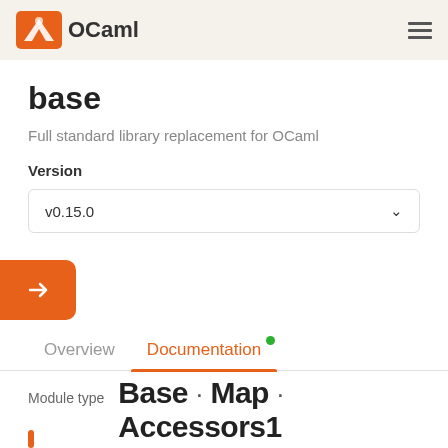OCaml
base
Full standard library replacement for OCaml
Version
v0.15.0
Overview   Documentation
Module type  Base · Map · Accessors1